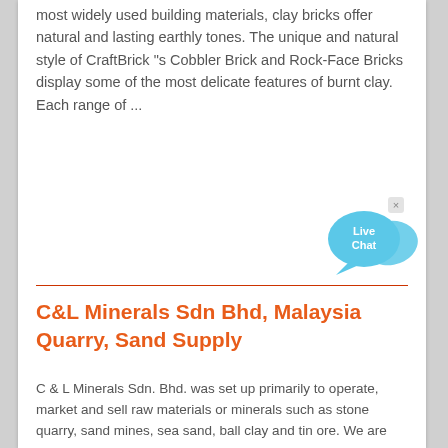most widely used building materials, clay bricks offer natural and lasting earthly tones. The unique and natural style of CraftBrick "s Cobbler Brick and Rock-Face Bricks display some of the most delicate features of burnt clay. Each range of ...
[Figure (other): Live Chat widget button — a speech bubble icon in light blue with 'Live Chat' text and a close (x) button]
C&L Minerals Sdn Bhd, Malaysia Quarry, Sand Supply
C & L Minerals Sdn. Bhd. was set up primarily to operate, market and sell raw materials or minerals such as stone quarry, sand mines, sea sand, ball clay and tin ore. We are the preferred material supplier to Construction builders, Concrete batching plants, Sand & Roof bricks manufacturers, precast concrete manufacturers and other building materials companies nway Paving SolutionsLock Stone Split Face Brick Project References Technical Contact Us Maps & Directions Favicon INNOVATION, OUR DNA PAVING THE GREEN...